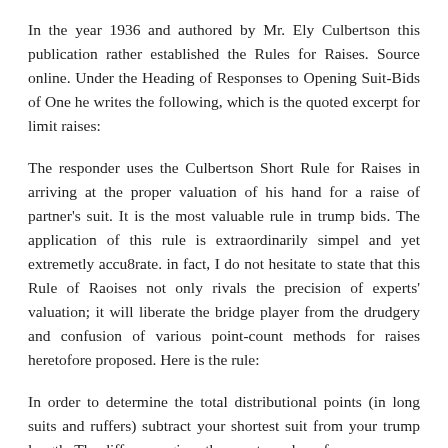In the year 1936 and authored by Mr. Ely Culbertson this publication rather established the Rules for Raises. Source online. Under the Heading of Responses to Opening Suit-Bids of One he writes the following, which is the quoted excerpt for limit raises:
The responder uses the Culbertson Short Rule for Raises in arriving at the proper valuation of his hand for a raise of partner's suit. It is the most valuable rule in trump bids. The application of this rule is extraordinarily simpel and yet extremetly accu8rate. in fact, I do not hesitate to state that this Rule of Raoises not only rivals the precision of experts' valuation; it will liberate the bridge player from the drudgery and confusion of various point-count methods for raises heretofore proposed. Here is the rule:
In order to determine the total distributional points (in long suits and ruffers) subtract your shortest suit from your trump length. The difference gives the exact number of...